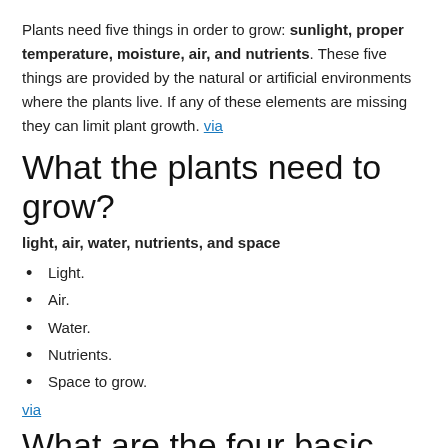Plants need five things in order to grow: sunlight, proper temperature, moisture, air, and nutrients. These five things are provided by the natural or artificial environments where the plants live. If any of these elements are missing they can limit plant growth. via
What the plants need to grow?
light, air, water, nutrients, and space
Light.
Air.
Water.
Nutrients.
Space to grow.
via
What are the four basic